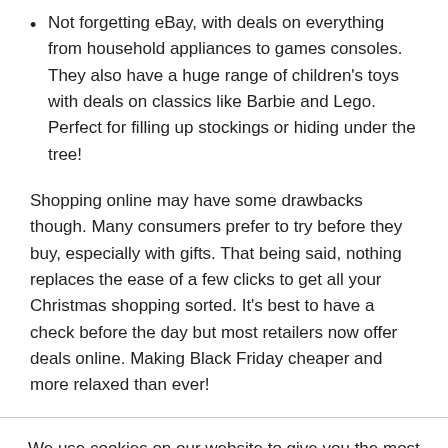Not forgetting eBay, with deals on everything from household appliances to games consoles. They also have a huge range of children's toys with deals on classics like Barbie and Lego. Perfect for filling up stockings or hiding under the tree!
Shopping online may have some drawbacks though. Many consumers prefer to try before they buy, especially with gifts. That being said, nothing replaces the ease of a few clicks to get all your Christmas shopping sorted. It's best to have a check before the day but most retailers now offer deals online. Making Black Friday cheaper and more relaxed than ever!
We use cookies on our website to give you the most relevant experience by remembering your preferences and repeat visits. By clicking “Accept”, you consent to the use of ALL the cookies.
Cookie settings | ACCEPT